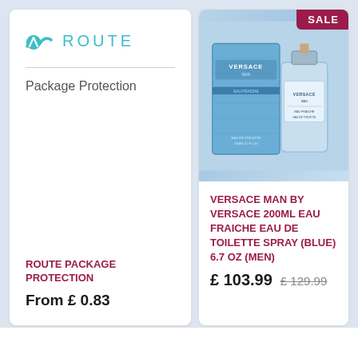[Figure (logo): Route logo with teal arrow/peak icon and ROUTE text in uppercase teal letters]
Package Protection
ROUTE PACKAGE PROTECTION
From £ 0.83
[Figure (photo): Versace Man Eau Fraiche 200ml blue perfume box and bottle with SALE badge in top right corner]
VERSACE MAN BY VERSACE 200ML EAU FRAICHE EAU DE TOILETTE SPRAY (BLUE) 6.7 OZ (MEN)
£ 103.99  £ 129.99